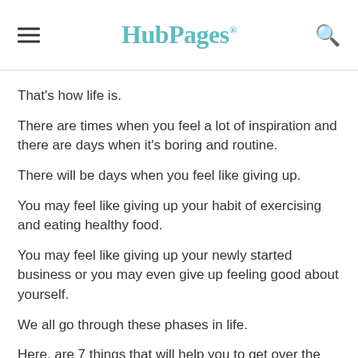HubPages
That's how life is.
There are times when you feel a lot of inspiration and there are days when it's boring and routine.
There will be days when you feel like giving up.
You may feel like giving up your habit of exercising and eating healthy food.
You may feel like giving up your newly started business or you may even give up feeling good about yourself.
We all go through these phases in life.
Here, are 7 things that will help you to get over the blues in your life.
[Figure (photo): Person outdoors with dark trees in background, dark moody photo]